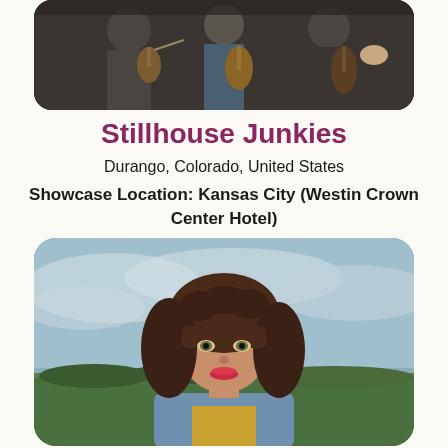[Figure (photo): Band photo showing musicians with string instruments (violin/cello/bass) against a dark background, cropped at top of page]
Stillhouse Junkies
Durango, Colorado, United States
Showcase Location: Kansas City (Westin Crown Center Hotel)
[Figure (photo): Portrait photo of a young woman with long curly brown hair and red lips, standing in front of a green field and cloudy sky]